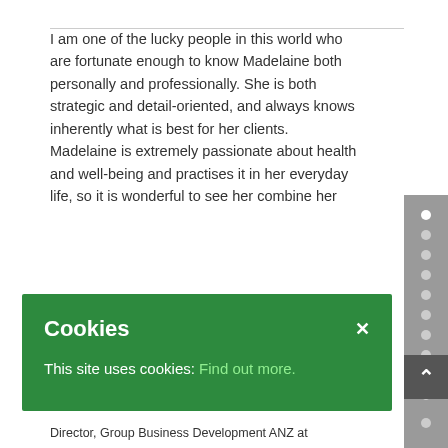I am one of the lucky people in this world who are fortunate enough to know Madelaine both personally and professionally. She is both strategic and detail-oriented, and always knows inherently what is best for her clients. Madelaine is extremely passionate about health and well-being and practises it in her everyday life, so it is wonderful to see her combine her [passion...] she is an [inspiration to] you all [at] some point
This site uses cookies: Find out more.
Director, Group Business Development ANZ at